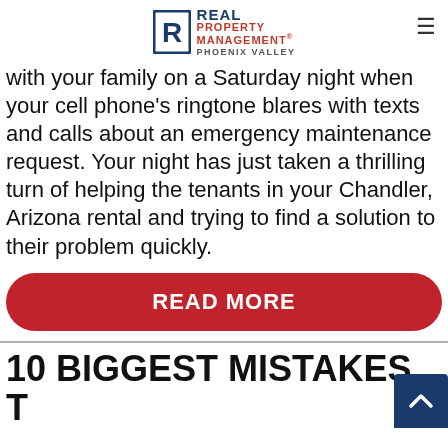Real Property Management Phoenix Valley
with your family on a Saturday night when your cell phone's ringtone blares with texts and calls about an emergency maintenance request. Your night has just taken a thrilling turn of helping the tenants in your Chandler, Arizona rental and trying to find a solution to their problem quickly.
READ MORE
10 BIGGEST MISTAKES T